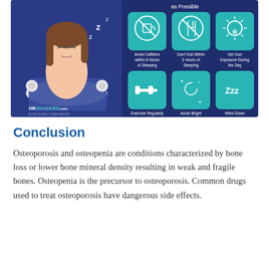[Figure (infographic): Sleep hygiene infographic on dark blue background. Left side shows illustration of a woman sleeping with a pillow, with 'DrJockers.com' branding. Right side shows 6 teal icon tiles: Avoid Caffeine within 8 Hours of Sleeping, Don't Eat Within 3 Hours of Sleeping, Get Sun Exposure During the Day, Exercise Regularly (but not late at night), Avoid Bright Light After Sunset, Wind Down At 9pm. Top text reads 'as Possible'.]
Conclusion
Osteoporosis and osteopenia are conditions characterized by bone loss or lower bone mineral density resulting in weak and fragile bones. Osteopenia is the precursor to osteoporosis. Common drugs used to treat osteoporosis have dangerous side effects.